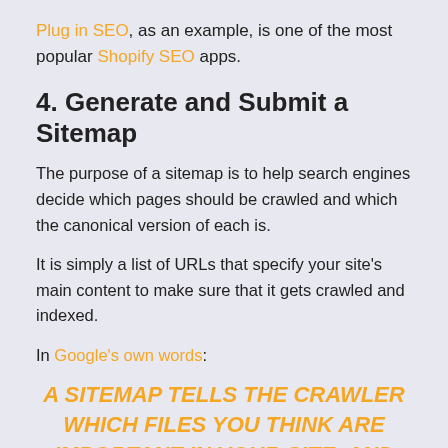Plug in SEO, as an example, is one of the most popular Shopify SEO apps.
4. Generate and Submit a Sitemap
The purpose of a sitemap is to help search engines decide which pages should be crawled and which the canonical version of each is.
It is simply a list of URLs that specify your site's main content to make sure that it gets crawled and indexed.
In Google's own words:
A SITEMAP TELLS THE CRAWLER WHICH FILES YOU THINK ARE IMPORTANT IN YOUR SITE, AND ALSO